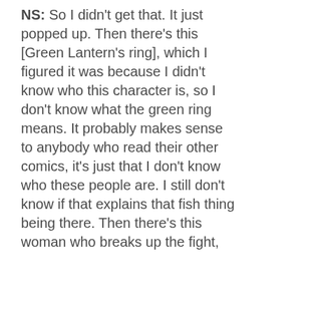NS:  So I didn't get that.  It just popped up.  Then there's this [Green Lantern's ring], which I figured it was because I didn't know who this character is, so I don't know what the green ring means.  It probably makes sense to anybody who read their other comics, it's just that I don't know who these people are.  I still don't know if that explains that fish thing being there.  Then there's this woman who breaks up the fight,